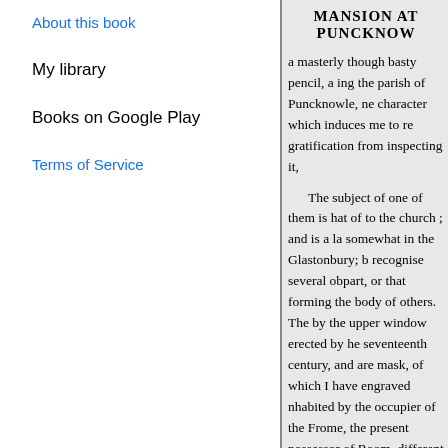About this book
My library
Books on Google Play
Terms of Service
MANSION AT PUNCKNOW
a masterly though basty pencil, a ing the parish of Puncknowle, ne character which induces me to re gratification from inspecting it,

The subject of one of them is that of to the church ; and is a la somewhat in the Glastonbury; b recognise several obpart, or that forming the body of others. The by the upper window erected by the seventeenth century, and are mask, of which I have engraved inhabited by the occupier of the Frome, the present possessor of Room, different subjects being p though of a less ancient characte the Gentleman's Magazine for N

The older part of the house n adjoinclaims little attention fr tower. quary, unless for its m